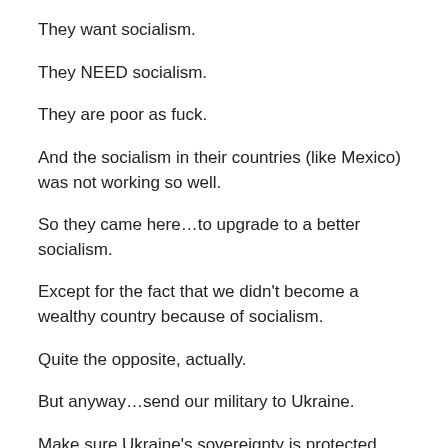They want socialism.
They NEED socialism.
They are poor as fuck.
And the socialism in their countries (like Mexico) was not working so well.
So they came here…to upgrade to a better socialism.
Except for the fact that we didn't become a wealthy country because of socialism.
Quite the opposite, actually.
But anyway…send our military to Ukraine.
Make sure Ukraine's sovereignty is protected.